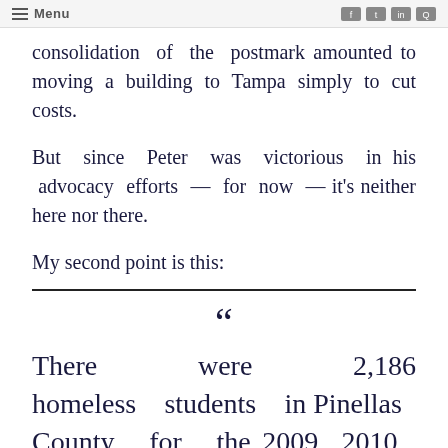Menu
consolidation of the postmark amounted to moving a building to Tampa simply to cut costs.
But since Peter was victorious in his advocacy efforts — for now — it's neither here nor there.
My second point is this:
“There were 2,186 homeless students in Pinellas County for the 2009-2010 school year